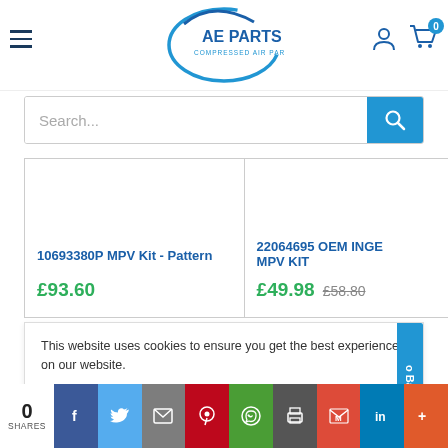[Figure (logo): AE Parts Compressed Air Parts logo with blue oval swoosh]
Search...
10693380P MPV Kit - Pattern
£93.60
22064695 OEM INGE MPV KIT
£49.98  £58.80
This website uses cookies to ensure you get the best experience on our website.
Accept
0
SHARES